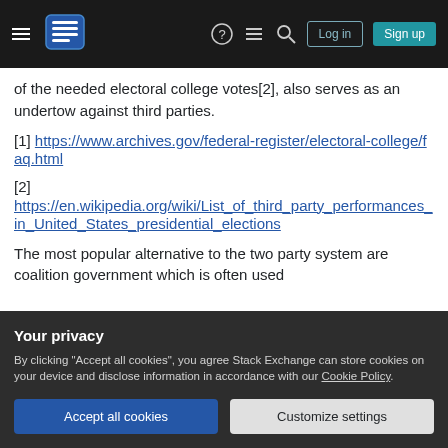Stack Exchange navigation bar with hamburger menu, logo, icons, Log in and Sign up buttons
of the needed electoral college votes[2], also serves as an undertow against third parties.
[1] https://www.archives.gov/federal-register/electoral-college/faq.html
[2] https://en.wikipedia.org/wiki/List_of_third_party_performances_in_United_States_presidential_elections
The most popular alternative to the two party system are coalition government which is often used
Your privacy
By clicking "Accept all cookies", you agree Stack Exchange can store cookies on your device and disclose information in accordance with our Cookie Policy.
Accept all cookies   Customize settings